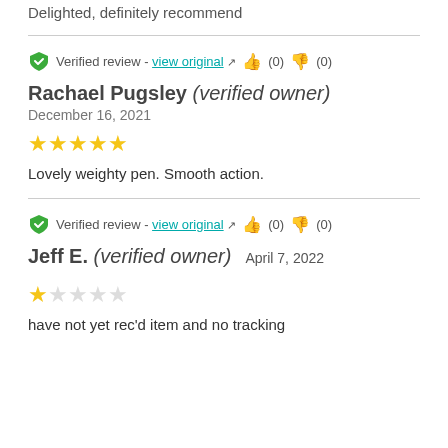Delighted, definitely recommend
Verified review - view original (0) (0)
Rachael Pugsley (verified owner)
December 16, 2021
[Figure (other): 5 out of 5 stars rating]
Lovely weighty pen. Smooth action.
Verified review - view original (0) (0)
Jeff E. (verified owner)  April 7, 2022
[Figure (other): 1 out of 5 stars rating]
have not yet rec'd item and no tracking